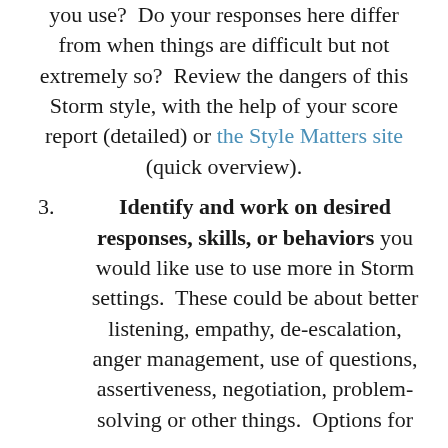you use?  Do your responses here differ from when things are difficult but not extremely so?  Review the dangers of this Storm style, with the help of your score report (detailed) or the Style Matters site (quick overview).
3.   Identify and work on desired responses, skills, or behaviors you would like use to use more in Storm settings.  These could be about better listening, empathy, de-escalation, anger management, use of questions, assertiveness, negotiation, problem-solving or other things.  Options for